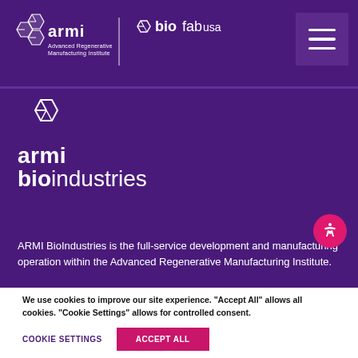[Figure (logo): ARMI BioFab USA logo in white on purple header bar, with hamburger menu icon on the right]
[Figure (logo): ARMI bioindustries brand mark with hexagonal icon and text 'armi bioindustries' in white on purple background]
ARMI BioIndustries is the full-service development and manufacturing operation within the Advanced Regenerative Manufacturing Institute.
We use cookies to improve our site experience. “Accept All” allows all cookies. "Cookie Settings" allows for controlled consent.
COOKIE SETTINGS
ACCEPT ALL